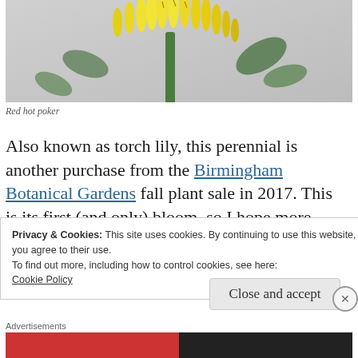[Figure (photo): Close-up photo of a red hot poker plant (Kniphofia) showing yellow tubular flowers (blooms) on a green stem against a light grey background with green foliage visible.]
Red hot poker
Also known as torch lily, this perennial is another purchase from the Birmingham Botanical Gardens fall plant sale in 2017. This is its first (and only) bloom, so I hope more
Privacy & Cookies: This site uses cookies. By continuing to use this website, you agree to their use.
To find out more, including how to control cookies, see here:
Cookie Policy
Close and accept
Advertisements